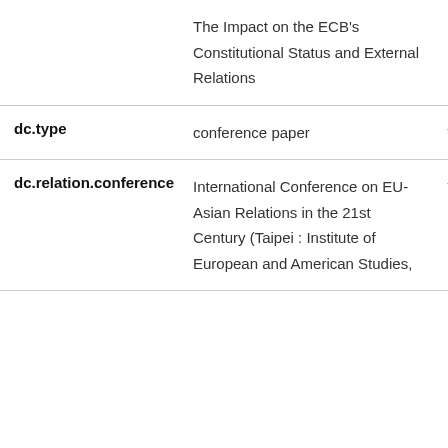|  | The Impact on the ECB's Constitutional Status and External Relations |  |
| dc.type | conference paper | - |
| dc.relation.conference | International Conference on EU-Asian Relations in the 21st Century (Taipei : Institute of European and American Studies, | - |